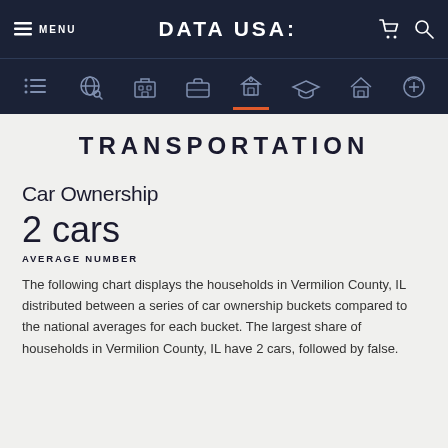MENU | DATA USA: | (cart) (search)
TRANSPORTATION
Car Ownership
2 cars
AVERAGE NUMBER
The following chart displays the households in Vermilion County, IL distributed between a series of car ownership buckets compared to the national averages for each bucket. The largest share of households in Vermilion County, IL have 2 cars, followed by false.